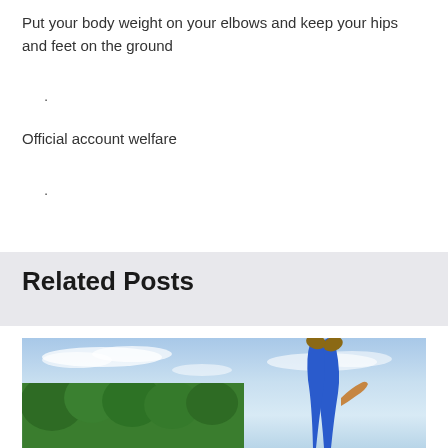Put your body weight on your elbows and keep your hips and feet on the ground
.
Official account welfare
.
Related Posts
[Figure (photo): Person performing a yoga or acrobatic pose outdoors with legs raised in the air, wearing blue pants. Green trees visible in background against a light blue cloudy sky.]